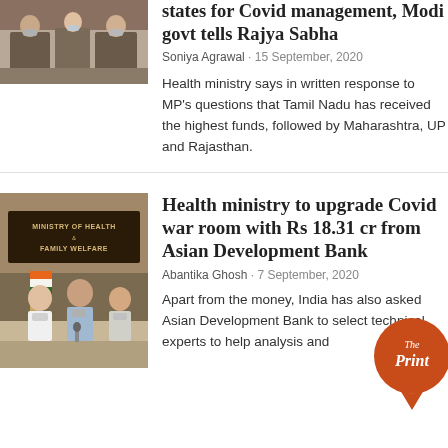states for Covid management, Modi govt tells Rajya Sabha
Soniya Agrawal · 15 September, 2020
Health ministry says in written response to MP's questions that Tamil Nadu has received the highest funds, followed by Maharashtra, UP and Rajasthan.
[Figure (photo): Photo of officials at a meeting, partially visible at top]
Health ministry to upgrade Covid war room with Rs 18.31 cr from Asian Development Bank
Abantika Ghosh · 7 September, 2020
Apart from the money, India has also asked Asian Development Bank to select technical experts to help analysis and
[Figure (photo): Photo of Ministry of Health and Family Welfare sign board with officials seated]
[Figure (logo): The Print logo - orange circle with The Print text]